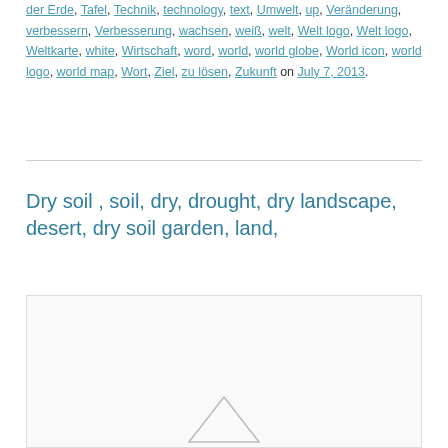der Erde, Tafel, Technik, technology, text, Umwelt, up, Veränderung, verbessern, Verbesserung, wachsen, weiß, welt, Welt logo, Welt logo, Weltkarte, white, Wirtschaft, word, world, world globe, World icon, world logo, world map, Wort, Ziel, zu lösen, Zukunft on July 7, 2013.
Dry soil , soil, dry, drought, dry landscape, desert, dry soil garden, land,
[Figure (photo): Partially visible image placeholder with a small triangle/mountain icon at the bottom center, light grey background with border]